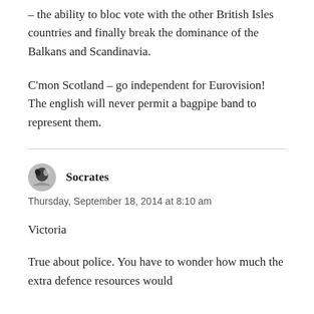– the ability to bloc vote with the other British Isles countries and finally break the dominance of the Balkans and Scandinavia.
C'mon Scotland – go independent for Eurovision! The english will never permit a bagpipe band to represent them.
Socrates
Thursday, September 18, 2014 at 8:10 am
Victoria
True about police. You have to wonder how much the extra defence resources would